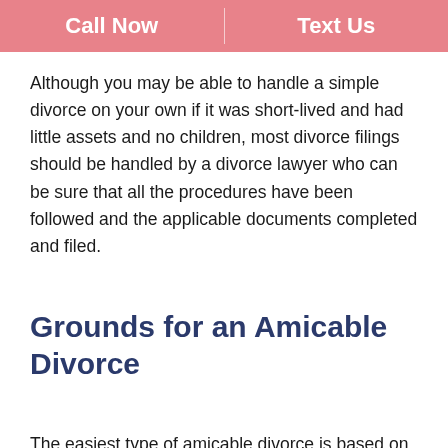Call Now | Text Us
Although you may be able to handle a simple divorce on your own if it was short-lived and had little assets and no children, most divorce filings should be handled by a divorce lawyer who can be sure that all the procedures have been followed and the applicable documents completed and filed.
Grounds for an Amicable Divorce
The easiest type of amicable divorce is based on the irretrievable breakdown of the marital relationship.